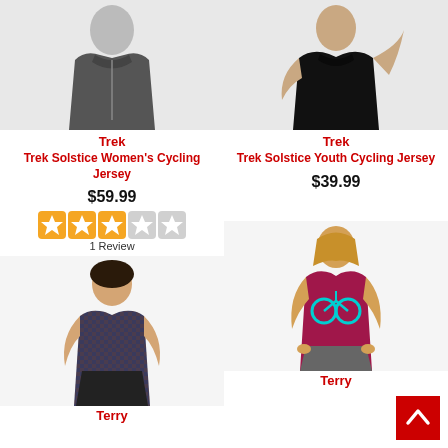[Figure (photo): Trek Solstice Women's Cycling Jersey - dark grey sleeveless jersey product photo]
Trek
Trek Solstice Women's Cycling Jersey
$59.99
[Figure (other): 3 out of 5 stars rating]
1 Review
[Figure (photo): Trek Solstice Youth Cycling Jersey - black sleeveless jersey product photo]
Trek
Trek Solstice Youth Cycling Jersey
$39.99
[Figure (photo): Terry - woman wearing patterned sleeveless cycling top with black bib shorts]
Terry
[Figure (photo): Terry - woman wearing magenta/red sleeveless jersey with bicycle graphic]
Terry